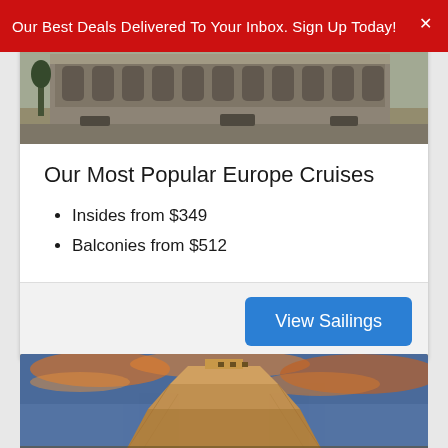Our Best Deals Delivered To Your Inbox. Sign Up Today!
[Figure (photo): Top portion of a European city scene with arched colonnade building and outdoor plaza]
Our Most Popular Europe Cruises
Insides from $349
Balconies from $512
View Sailings
[Figure (photo): Mayan pyramid (Chichen Itza) against dramatic orange and blue sunset sky]